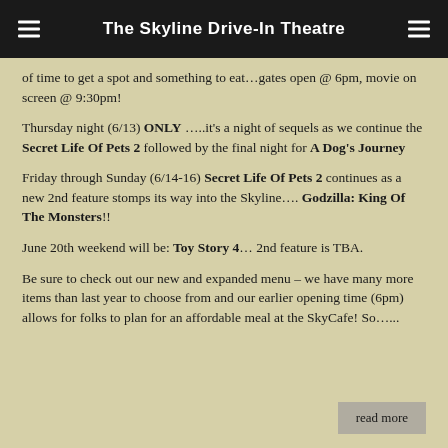The Skyline Drive-In Theatre
of time to get a spot and something to eat…gates open @ 6pm, movie on screen @ 9:30pm!
Thursday night (6/13) ONLY …..it's a night of sequels as we continue the Secret Life Of Pets 2 followed by the final night for A Dog's Journey
Friday through Sunday (6/14-16) Secret Life Of Pets 2 continues as a new 2nd feature stomps its way into the Skyline…. Godzilla: King Of The Monsters!!
June 20th weekend will be: Toy Story 4… 2nd feature is TBA.
Be sure to check out our new and expanded menu – we have many more items than last year to choose from and our earlier opening time (6pm) allows for folks to plan for an affordable meal at the SkyCafe!  So…...